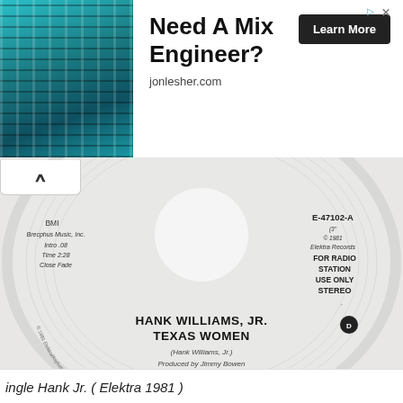[Figure (photo): Advertisement banner: Photo of an audio mixing board (teal/blue toned) on the left. Text reads 'Need A Mix Engineer?' with 'jonlesher.com' below and a 'Learn More' button on the right. Ad icon and close X in top right corner.]
[Figure (photo): A white 7-inch vinyl record label for Elektra Records. Label reads: E-47102-A, FOR RADIO STATION USE ONLY, STEREO. Left side: BMI, Brecphus Music Inc, Intro .08, Time 2:28, Close Fade. Center bottom: HANK WILLIAMS, JR. / TEXAS WOMEN / (Hank Williams, Jr.) / Produced by Jimmy Bowen / From the album 'Rowdy' / CURB RECORDS logo.]
ingle Hank Jr. ( Elektra 1981 )